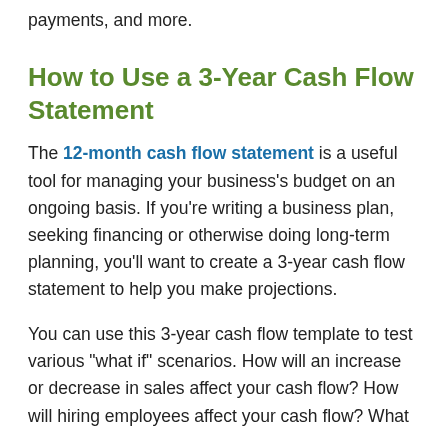payments, and more.
How to Use a 3-Year Cash Flow Statement
The 12-month cash flow statement is a useful tool for managing your business's budget on an ongoing basis. If you're writing a business plan, seeking financing or otherwise doing long-term planning, you'll want to create a 3-year cash flow statement to help you make projections.
You can use this 3-year cash flow template to test various "what if" scenarios. How will an increase or decrease in sales affect your cash flow? How will hiring employees affect your cash flow? What